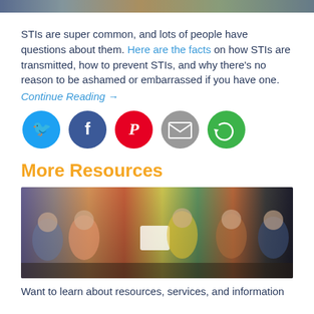[Figure (photo): Top banner image showing people, partially visible at top of page]
STIs are super common, and lots of people have questions about them. Here are the facts on how STIs are transmitted, how to prevent STIs, and why there's no reason to be ashamed or embarrassed if you have one.
Continue Reading →
[Figure (infographic): Row of five social media sharing icons: Twitter (blue), Facebook (dark blue), Pinterest (red), Email (gray), Share/Other (green)]
More Resources
[Figure (photo): Group of young people sitting in a row, holding tablets and devices, colorfully dressed]
Want to learn about resources, services, and information